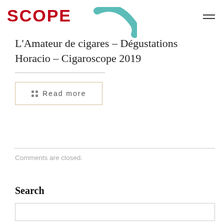SCOPE
L'Amateur de cigares – Dégustations Horacio – Cigaroscope 2019
Read more
Comments are closed.
Search